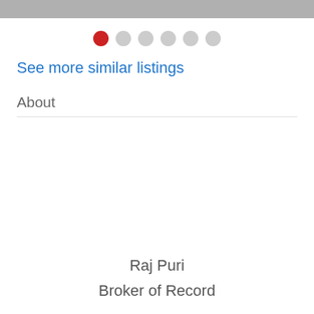[Figure (photo): Top portion of a property listing photo, partially visible, gray/silver toned]
● ○ ○ ○ ○ ○ (carousel dots, first dot active/red)
See more similar listings
About
Raj Puri
Broker of Record